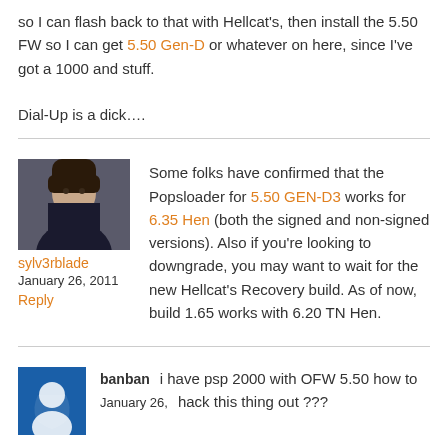so I can flash back to that with Hellcat's, then install the 5.50 FW so I can get 5.50 Gen-D or whatever on here, since I've got a 1000 and stuff.

Dial-Up is a dick….
sylv3rblade
January 26, 2011
Reply

Some folks have confirmed that the Popsloader for 5.50 GEN-D3 works for 6.35 Hen (both the signed and non-signed versions). Also if you're looking to downgrade, you may want to wait for the new Hellcat's Recovery build. As of now, build 1.65 works with 6.20 TN Hen.
banban
January 26,
i have psp 2000 with OFW 5.50 how to hack this thing out ???